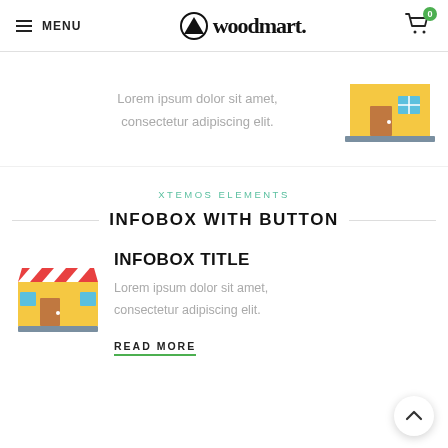MENU | woodmart. | cart 0
Lorem ipsum dolor sit amet, consectetur adipiscing elit.
[Figure (illustration): Flat illustration of a yellow building/store with a brown door and blue window]
XTEMOS ELEMENTS
INFOBOX WITH BUTTON
[Figure (illustration): Flat illustration of a market stall/shop with red and white striped awning, yellow front, brown door, blue window]
INFOBOX TITLE
Lorem ipsum dolor sit amet, consectetur adipiscing elit.
READ MORE